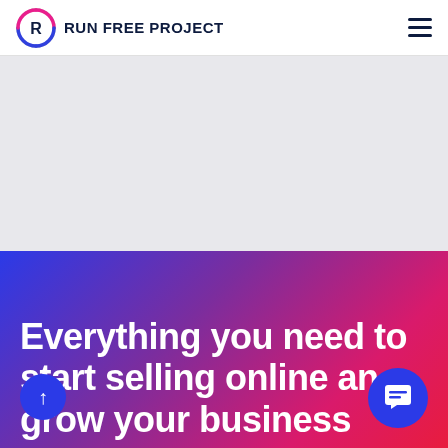RUN FREE PROJECT
[Figure (other): Gray banner/advertisement placeholder area]
Everything you need to start selling online and grow your business